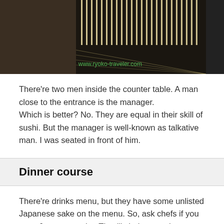[Figure (photo): Dark interior restaurant photo with vertical light strips visible and watermark 'www.ryoko-traveler.com' in green text at bottom right]
There're two men inside the counter table. A man close to the entrance is the manager.
Which is better? No. They are equal in their skill of sushi. But the manager is well-known as talkative man. I was seated in front of him.
Dinner course
There're drinks menu, but they have some unlisted Japanese sake on the menu. So, ask chefs if you want Japanese sake. They'll choice your best one.